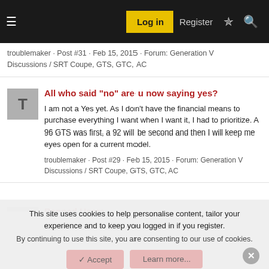Log in | Register
troublemaker · Post #31 · Feb 15, 2015 · Forum: Generation V Discussions / SRT Coupe, GTS, GTC, AC
All who said "no" are u now saying yes?
I am not a Yes yet. As I don't have the financial means to purchase everything I want when I want it, I had to prioritize. A 96 GTS was first, a 92 will be second and then I will keep me eyes open for a current model.
troublemaker · Post #29 · Feb 15, 2015 · Forum: Generation V Discussions / SRT Coupe, GTS, GTC, AC
Banned Users
The last time I saw VCA Forum Staff we all knew who was behind it. Unfortunately since I have been forcefully absenced from this
This site uses cookies to help personalise content, tailor your experience and to keep you logged in if you register.
By continuing to use this site, you are consenting to our use of cookies.